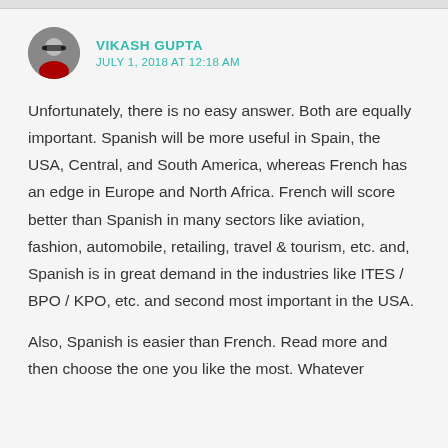[Figure (photo): Circular avatar photo of a person wearing sunglasses]
VIKASH GUPTA
JULY 1, 2018 AT 12:18 AM
Unfortunately, there is no easy answer. Both are equally important. Spanish will be more useful in Spain, the USA, Central, and South America, whereas French has an edge in Europe and North Africa. French will score better than Spanish in many sectors like aviation, fashion, automobile, retailing, travel & tourism, etc. and, Spanish is in great demand in the industries like ITES / BPO / KPO, etc. and second most important in the USA.
Also, Spanish is easier than French. Read more and then choose the one you like the most. Whatever